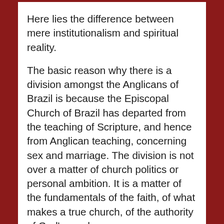Here lies the difference between mere institutionalism and spiritual reality.
The basic reason why there is a division amongst the Anglicans of Brazil is because the Episcopal Church of Brazil has departed from the teaching of Scripture, and hence from Anglican teaching, concerning sex and marriage. The division is not over a matter of church politics or personal ambition. It is a matter of the fundamentals of the faith, of what makes a true church, of the authority of God's word.
In 2005, the Diocese of Recife withdrew from the existing Church body over this issue. In so doing it was being true to Scripture and to the overwhelming majority view of the Communion's Bishops as expressed in Lambeth 1.10 of 1998. In 2016, after court cases, it had to surrender much of its property. And yet, under God, the Diocese continues, grows and is now in a position to become a Province, with several Dioceses.
Throughout this period, orthodox Bishops (such as Archbishop Greg Venables of South America) upheld the Diocese and supported it and ministered within it. Because this was an issue of basic theology, the Gafcon movement recognised the Diocese and arranged for the consecration of the present Archbishop. Gafcon held on to faithful